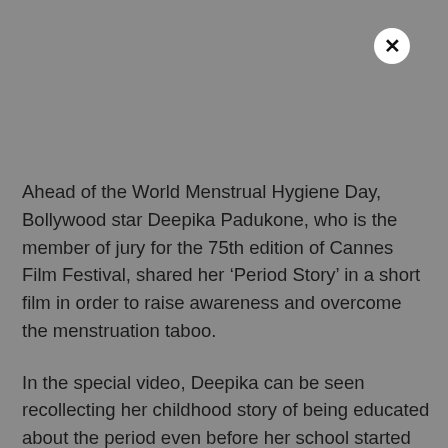[Figure (other): Close/X button circle in top right corner]
Ahead of the World Menstrual Hygiene Day, Bollywood star Deepika Padukone, who is the member of jury for the 75th edition of Cannes Film Festival, shared her ‘Period Story’ in a short film in order to raise awareness and overcome the menstruation taboo.
In the special video, Deepika can be seen recollecting her childhood story of being educated about the period even before her school started menstrual education.
The actress, in the video, says: “I will never forget this